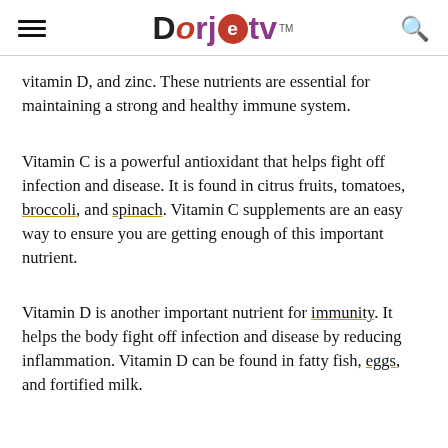Dorjetv (logo with hamburger menu and search icon)
vitamin D, and zinc. These nutrients are essential for maintaining a strong and healthy immune system.
Vitamin C is a powerful antioxidant that helps fight off infection and disease. It is found in citrus fruits, tomatoes, broccoli, and spinach. Vitamin C supplements are an easy way to ensure you are getting enough of this important nutrient.
Vitamin D is another important nutrient for immunity. It helps the body fight off infection and disease by reducing inflammation. Vitamin D can be found in fatty fish, eggs, and fortified milk.